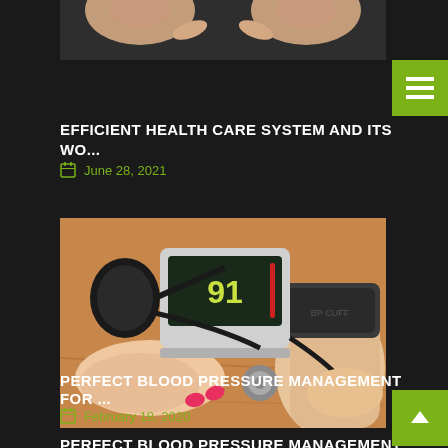[Figure (photo): Partial view of hands (top portion of previous article image, cropped)]
EFFICIENT HEALTH CARE SYSTEM AND ITS WO...
June 28, 2021
[Figure (photo): Blood pressure measurement photo: a healthcare professional measuring a patient's blood pressure with a digital sphygmomanometer and stethoscope on the patient's wrist, on a wooden surface]
PERFECT BLOOD PRESSURE MANAGEMENT FOR ...
February 18, 2020